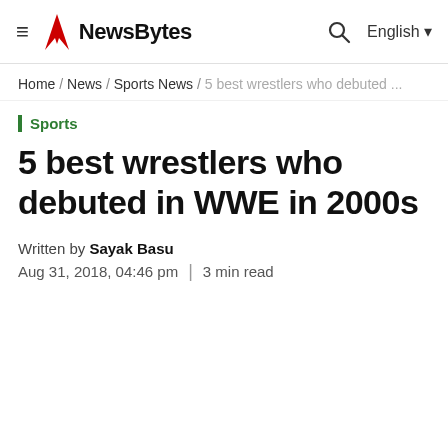NewBytes | Home / News / Sports News / 5 best wrestlers who debuted ...
Home / News / Sports News / 5 best wrestlers who debuted ...
Sports
5 best wrestlers who debuted in WWE in 2000s
Written by Sayak Basu
Aug 31, 2018, 04:46 pm | 3 min read